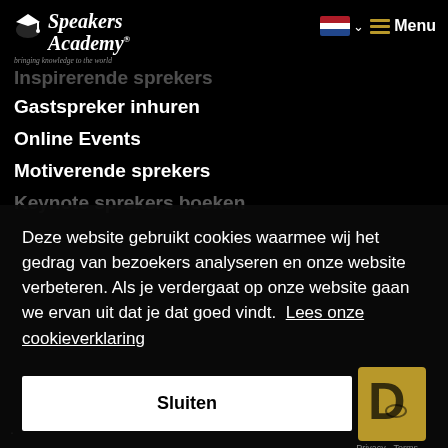[Figure (logo): Speakers Academy logo with graduation cap, italic serif text, and tagline 'bringing knowledge to the world']
[Figure (other): Dutch flag icon with dropdown chevron and hamburger Menu button]
Inspirerende sprekers
Gastspreker inhuren
Online Events
Motiverende sprekers
Keynote sprekers boeken
Deze website gebruikt cookies waarmee wij het gedrag van bezoekers analyseren en onze website verbeteren. Als je verdergaat op onze website gaan we ervan uit dat je dat goed vindt.  Lees onze cookieverklaring
Sluiten